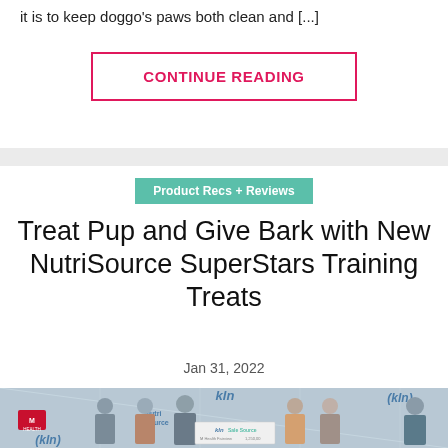it is to keep doggo's paws both clean and [...]
CONTINUE READING
Product Recs + Reviews
Treat Pup and Give Bark with New NutriSource SuperStars Training Treats
Jan 31, 2022
[Figure (photo): Group of people holding a large ceremonial check from KLN/NutriSource to M Health Fairview University of Minnesota Masonic Children's Hospital for $1,250,000, taken at an event with sponsor logos in background.]